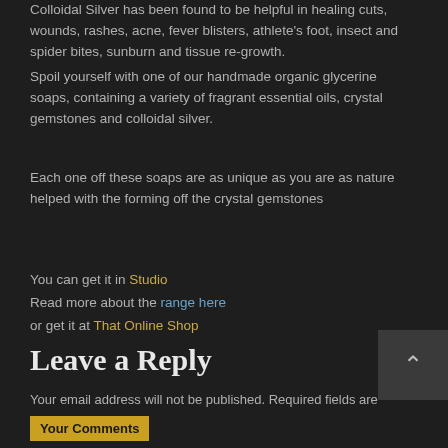Colloidal Silver has been found to be helpful in healing cuts, wounds, rashes, acne, fever blisters, athlete's foot, insect and spider bites, sunburn and tissue re-growth. Spoil yourself with one of our handmade organic glycerine soaps, containing a variety of fragrant essential oils, crystal gemstones and colloidal silver.
Each one off these soaps are as unique as you are as nature helped with the forming off the crystal gemstones
You can get it in Studio
Read more about the range here
or get it at That Online Shop
Leave a Reply
Your email address will not be published. Required fields are marked *
Your Comments